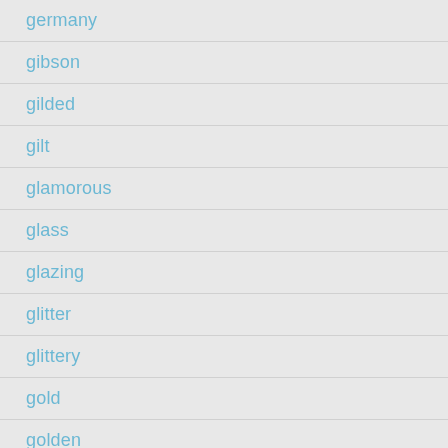germany
gibson
gilded
gilt
glamorous
glass
glazing
glitter
glittery
gold
golden
good
gorgeous